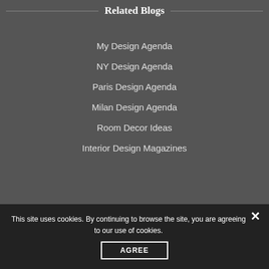Related Blogs
My Design Agenda
NY Design Agenda
Paris Design Agenda
Milan Design Agenda
Room Decor Ideas
Interior Design Magazines
This site uses cookies. By continuing to browse the site, you are agreeing to our use of cookies.
AGREE
SUMMER SALE BY COVET COLLECTION